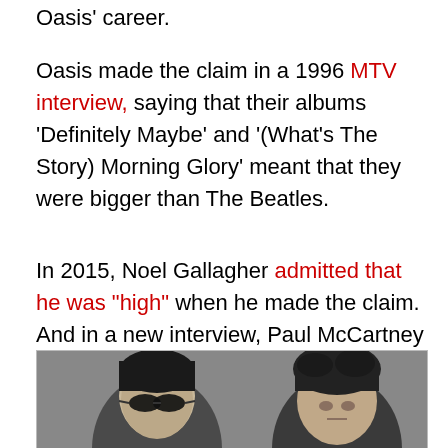Oasis' career.
Oasis made the claim in a 1996 MTV interview, saying that their albums ‘Definitely Maybe’ and ‘(What’s The Story) Morning Glory’ meant that they were bigger than The Beatles.
In 2015, Noel Gallagher admitted that he was “high” when he made the claim. And in a new interview, Paul McCartney has said that the claim was the biggest mistake of Oasis’ career.
[Figure (photo): Black and white photograph of two people, likely members of Oasis (Liam and Noel Gallagher), cropped at the top of the frame showing their heads and upper faces.]